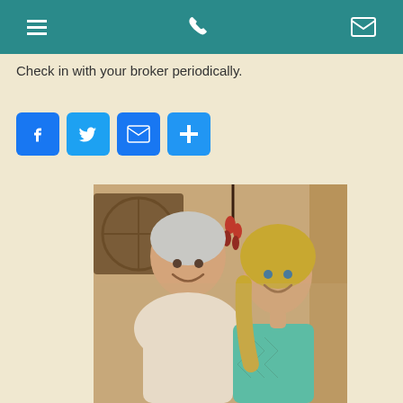Navigation header with menu, phone, and email icons
Check in with your broker periodically.
[Figure (infographic): Social sharing buttons: Facebook, Twitter, Email, and More (+)]
[Figure (photo): A smiling middle-aged man in a white dress shirt and a young blonde woman in a teal patterned top, posing together indoors with decorative elements in the background.]